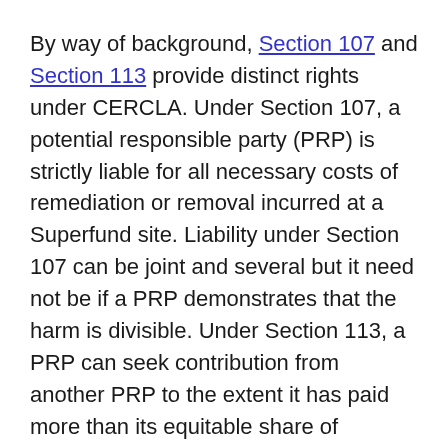By way of background, Section 107 and Section 113 provide distinct rights under CERCLA. Under Section 107, a potential responsible party (PRP) is strictly liable for all necessary costs of remediation or removal incurred at a Superfund site. Liability under Section 107 can be joint and several but it need not be if a PRP demonstrates that the harm is divisible. Under Section 113, a PRP can seek contribution from another PRP to the extent it has paid more than its equitable share of response costs. Also, the statute of limitations under Section 107 and Section 113 are different: Section 107 has a 3 or 6-year statute of limitations depending on the circumstance; Section 113 is 3 years.
Parties performing remediation under a settlement...